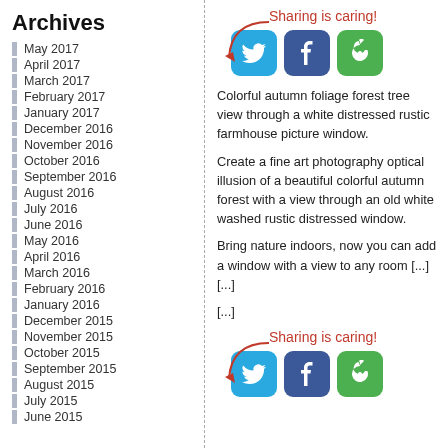Archives
May 2017
April 2017
March 2017
February 2017
January 2017
December 2016
November 2016
October 2016
September 2016
August 2016
July 2016
June 2016
May 2016
April 2016
March 2016
February 2016
January 2016
December 2015
November 2015
October 2015
September 2015
August 2015
July 2015
June 2015
[Figure (infographic): Sharing is caring! text with arrow pointing to Twitter, Facebook, and a cycle/share social media icon buttons]
Colorful autumn foliage forest tree view through a white distressed rustic farmhouse picture window.
Create a fine art photography optical illusion of a beautiful colorful autumn forest with a view through an old white washed rustic distressed window.
Bring nature indoors, now you can add a window with a view to any room [...] [...]
[...]
[Figure (infographic): Sharing is caring! text with arrow pointing to Twitter, Facebook, and a cycle/share social media icon buttons]